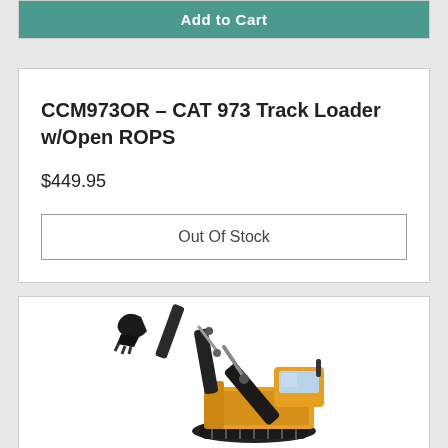Add to Cart
CCM973OR - CAT 973 Track Loader w/Open ROPS
$449.95
Out Of Stock
[Figure (photo): Die-cast model of a yellow and black CAT excavator/track loader on black tracks, shown at an angle with arm extended]